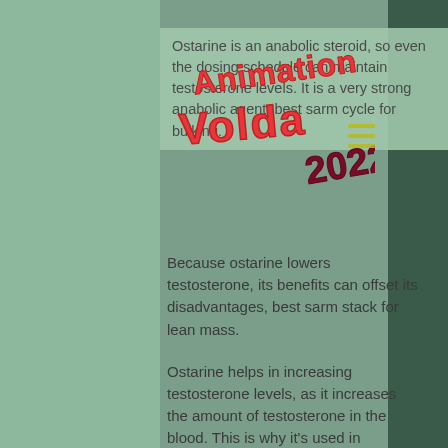[Figure (logo): Animation Voida 2022 logo in red bubble letters with dark red 2022 numbers]
Ostarine is an anabolic steroid, so even the dosing schedule can maintain testosterone levels. It is a very strong anabolic agent, best sarm cycle for bulking.
Because ostarine lowers testosterone, its benefits can offset its disadvantages, best sarm stack for lean mass.
Ostarine helps in increasing testosterone levels, as it increases the amount of testosterone in the blood. This is why it's used in bodybuilding routines.
The side-effects of oral administration include headache, stomach problems, nausea, and insomnia, best sarm bulking stack.
Ostarine also increases muscle mass in the body, and helps with recovery after workouts,